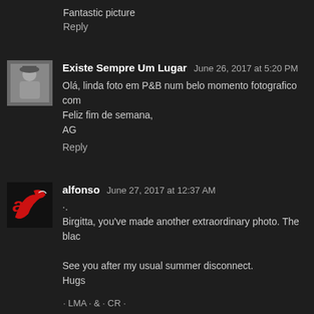Fantastic picture
Reply
Existe Sempre Um Lugar  June 26, 2017 at 5:20 PM
Olá, linda foto em P&B num belo momento fotografico com
Feliz fim de semana,
AG
Reply
alfonso  June 27, 2017 at 12:37 AM
·.
Birgitta, you've made another extraordinary photo. The blac

See you after my usual summer disconnect.
Hugs
· LMA · & · CR ·